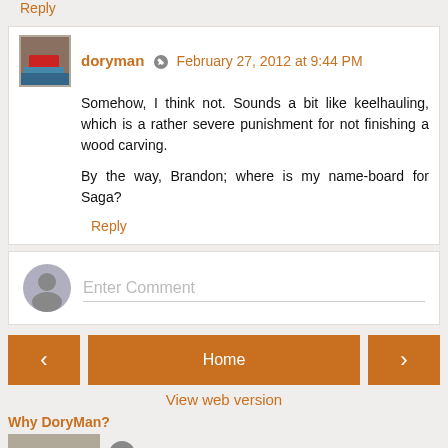Reply
doryman  February 27, 2012 at 9:44 PM
Somehow, I think not. Sounds a bit like keelhauling, which is a rather severe punishment for not finishing a wood carving.

By the way, Brandon; where is my name-board for Saga?
Reply
Enter Comment
Home
View web version
Why DoryMan?